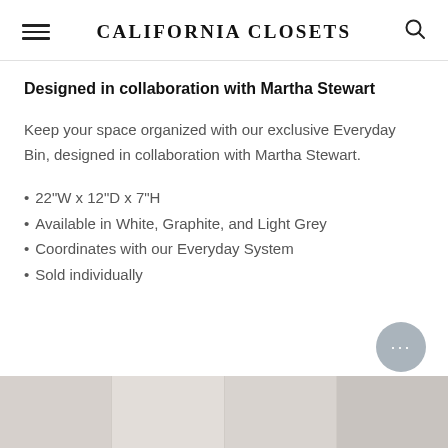CALIFORNIA CLOSETS
Designed in collaboration with Martha Stewart
Keep your space organized with our exclusive Everyday Bin, designed in collaboration with Martha Stewart.
22"W x 12"D x 7"H
Available in White, Graphite, and Light Grey
Coordinates with our Everyday System
Sold individually